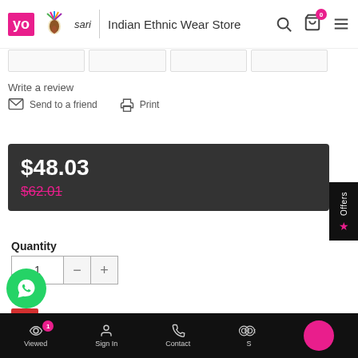YoSari | Indian Ethnic Wear Store
Write a review
Send to a friend   Print
$48.03
$62.01
Quantity
1
Color
Viewed | Sign In | Contact | S